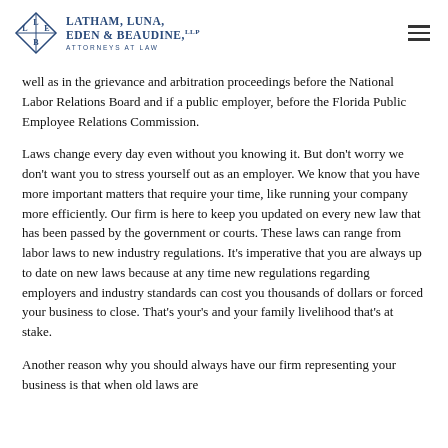Latham, Luna, Eden & Beaudine, LLP — Attorneys at Law
well as in the grievance and arbitration proceedings before the National Labor Relations Board and if a public employer, before the Florida Public Employee Relations Commission.
Laws change every day even without you knowing it. But don't worry we don't want you to stress yourself out as an employer. We know that you have more important matters that require your time, like running your company more efficiently. Our firm is here to keep you updated on every new law that has been passed by the government or courts. These laws can range from labor laws to new industry regulations. It's imperative that you are always up to date on new laws because at any time new regulations regarding employers and industry standards can cost you thousands of dollars or forced your business to close. That's your's and your family livelihood that's at stake.
Another reason why you should always have our firm representing your business is that when old laws are